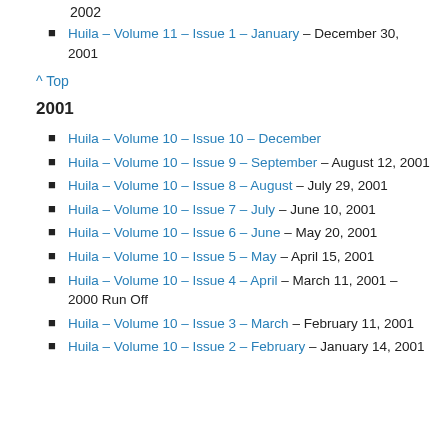Huila – Volume 11 – Issue 1 – January – December 30, 2001
^ Top
2001
Huila – Volume 10 – Issue 10 – December
Huila – Volume 10 – Issue 9 – September – August 12, 2001
Huila – Volume 10 – Issue 8 – August – July 29, 2001
Huila – Volume 10 – Issue 7 – July – June 10, 2001
Huila – Volume 10 – Issue 6 – June – May 20, 2001
Huila – Volume 10 – Issue 5 – May – April 15, 2001
Huila – Volume 10 – Issue 4 – April – March 11, 2001 – 2000 Run Off
Huila – Volume 10 – Issue 3 – March – February 11, 2001
Huila – Volume 10 – Issue 2 – February – January 14, 2001